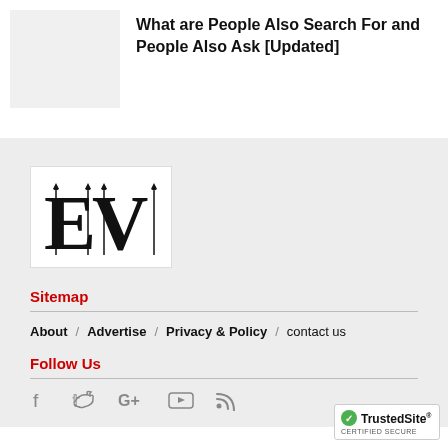What are People Also Search For and People Also Ask [Updated]
[Figure (logo): EV logo with decorative serif letters E and V in black on white background]
Sitemap
About / Advertise / Privacy & Policy / contact us
Follow Us
[Figure (infographic): Social media icons: Facebook, Twitter, Google+, YouTube, RSS]
[Figure (logo): TrustedSite Certified Secure badge]